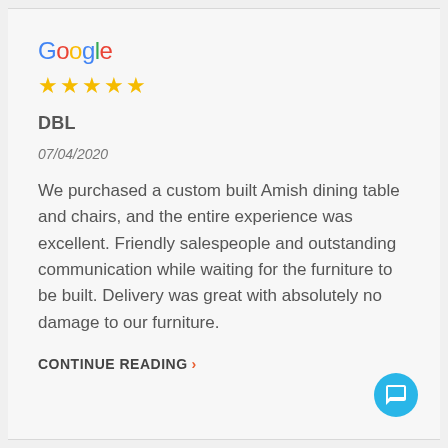[Figure (logo): Google logo in multicolor text]
★★★★★ (5 stars in gold)
DBL
07/04/2020
We purchased a custom built Amish dining table and chairs, and the entire experience was excellent. Friendly salespeople and outstanding communication while waiting for the furniture to be built. Delivery was great with absolutely no damage to our furniture.
CONTINUE READING ›
[Figure (illustration): Blue circular chat button with speech bubble icon in bottom right corner]